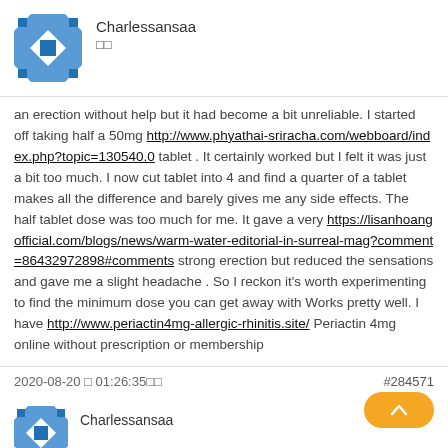[Figure (other): User avatar quilt-pattern icon for user Charlessansaa]
Charlessansaa
□□
an erection without help but it had become a bit unreliable. I started off taking half a 50mg http://www.phyathai-sriracha.com/webboard/index.php?topic=130540.0 tablet . It certainly worked but I felt it was just a bit too much. I now cut tablet into 4 and find a quarter of a tablet makes all the difference and barely gives me any side effects. The half tablet dose was too much for me. It gave a very https://lisanhoangofficial.com/blogs/news/warm-water-editorial-in-surreal-mag?comment=86432972898#comments strong erection but reduced the sensations and gave me a slight headache . So I reckon it's worth experimenting to find the minimum dose you can get away with Works pretty well. I have http://www.periactin4mg-allergic-rhinitis.site/ Periactin 4mg online without prescription or membership
2020-08-20 □ 01:26:35□□
#284571
[Figure (other): Second user avatar quilt-pattern icon for user Charlessansaa]
Charlessansaa